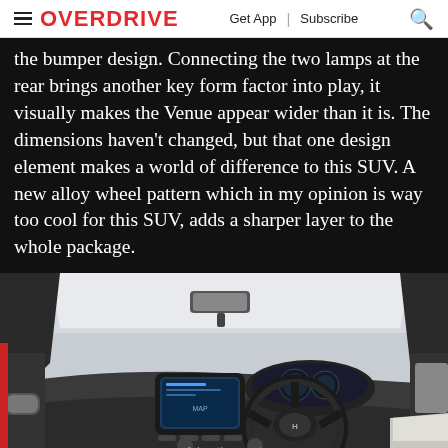OVERDRIVE   Get App  |  Subscribe
the bumper design. Connecting the two lamps at the rear brings another key form factor into play, it visually makes the Venue appear wider than it is. The dimensions haven't changed, but that one design element makes a world of difference to this SUV. A new alloy wheel pattern which in my opinion is way too cool for this SUV, adds a sharper layer to the whole package.
[Figure (photo): Interior view of Hyundai Venue SUV cabin showing dashboard, touchscreen infotainment system, steering wheel with Hyundai logo, instrument cluster, center console, and front passenger seat with white upholstery. Shot from driver's side door opening against white background.]
Advertisement